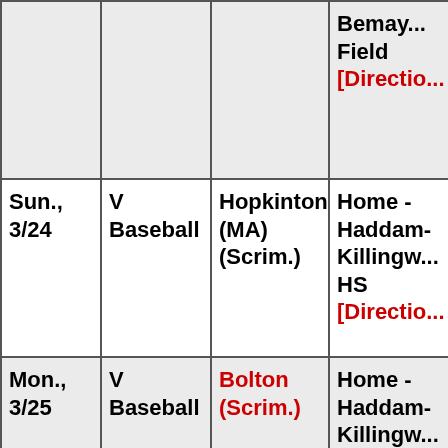| Date | Sport | Opponent | Location |
| --- | --- | --- | --- |
|  |  |  | Bemay... Field
[Directio... |
| Sun., 3/24 | V Baseball | Hopkinton (MA) (Scrim.) | Home - Haddam-Killingw... HS
[Directio... |
| Mon., 3/25 | V Baseball | Bolton (Scrim.) | Home - Haddam-Killingw... HS
[Directio... |
| Tue., 3/26 | V Baseball | Portland (Scrim.) | Home - Haddam-Killingw... |